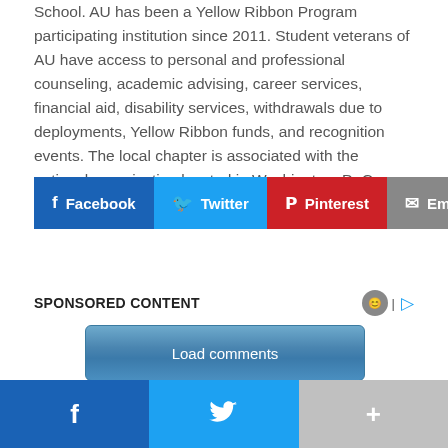School. AU has been a Yellow Ribbon Program participating institution since 2011. Student veterans of AU have access to personal and professional counseling, academic advising, career services, financial aid, disability services, withdrawals due to deployments, Yellow Ribbon funds, and recognition events. The local chapter is associated with the national organization located in Washington, D. C.
[Figure (screenshot): Social sharing buttons: Facebook (blue), Twitter (cyan), Pinterest (red), Email (gray)]
SPONSORED CONTENT
[Figure (other): Load comments button (blue gradient)]
[Figure (screenshot): Bottom share bar: Facebook (dark blue), Twitter (cyan), More (gray)]